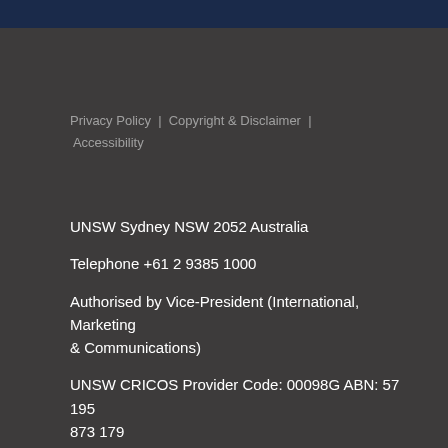Privacy Policy  |  Copyright & Disclaimer  |  Accessibility
UNSW Sydney NSW 2052 Australia
Telephone +61 2 9385 1000
Authorised by Vice-President (International, Marketing & Communications)
UNSW CRICOS Provider Code: 00098G ABN: 57 195 873 179